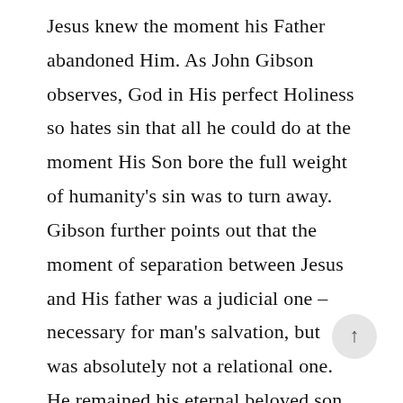Jesus knew the moment his Father abandoned Him. As John Gibson observes, God in His perfect Holiness so hates sin that all he could do at the moment His Son bore the full weight of humanity's sin was to turn away. Gibson further points out that the moment of separation between Jesus and His father was a judicial one – necessary for man's salvation, but was absolutely not a relational one. He remained his eternal beloved son.